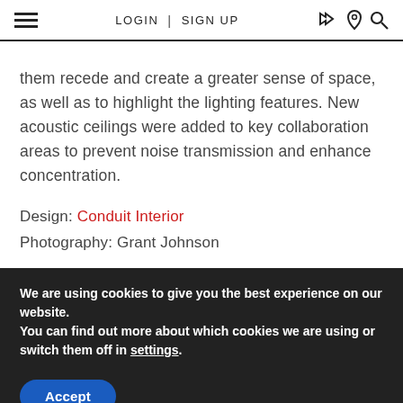LOGIN | SIGN UP
them recede and create a greater sense of space, as well as to highlight the lighting features. New acoustic ceilings were added to key collaboration areas to prevent noise transmission and enhance concentration.
Design: Conduit Interior
Photography: Grant Johnson
We are using cookies to give you the best experience on our website.
You can find out more about which cookies we are using or switch them off in settings.
Accept